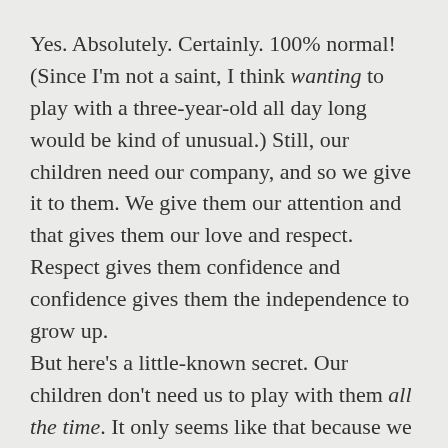Yes. Absolutely. Certainly. 100% normal! (Since I'm not a saint, I think wanting to play with a three-year-old all day long would be kind of unusual.) Still, our children need our company, and so we give it to them. We give them our attention and that gives them our love and respect. Respect gives them confidence and confidence gives them the independence to grow up.
But here's a little-known secret. Our children don't need us to play with them all the time. It only seems like that because we keep running away from them. And when we run away, they run after. This is why I equate motherhood to the sudden onset of flesh-eating disease. Joking about it eases the torment, but it still feels like we're being eaten alive!
What makes parenting a spiritual practice is that it